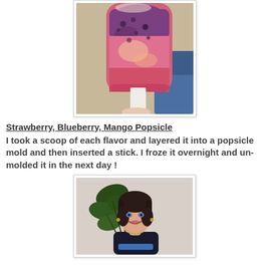[Figure (photo): A strawberry, blueberry, mango popsicle held by hand with a white stick, showing layered frozen fruit colors of pink and purple, on a mold/background.]
Strawberry, Blueberry, Mango Popsicle
I took a scoop of each flavor and layered it into a popsicle mold and then inserted a stick. I froze it overnight and un-molded it in the next day !
[Figure (photo): A woman with dark hair smiling, wearing a dark outfit with a blue stripe, standing in front of a plant.]